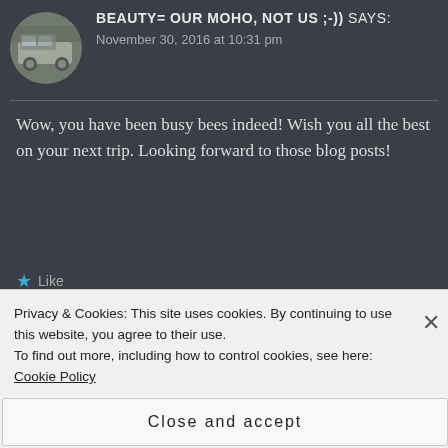[Figure (photo): Circular avatar photo of a motorhome/RV in snowy or winter setting]
BEAUTY= OUR MOHO, NOT US ;-)) says:
November 30, 2016 at 10:31 pm
Wow, you have been busy bees indeed! Wish you all the best on your next trip. Looking forward to those blog posts!
Like
[Figure (photo): Circular avatar with person icon and blue globe/earth image for FOLLOWOURMOTORHOME]
FOLLOWOURMOTORHOME
Privacy & Cookies: This site uses cookies. By continuing to use this website, you agree to their use. To find out more, including how to control cookies, see here: Cookie Policy
Close and accept